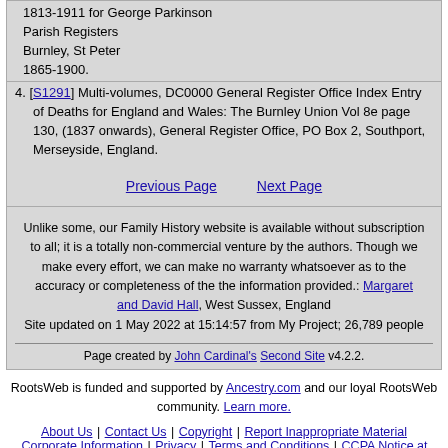1813-1911 for George Parkinson
Parish Registers
Burnley, St Peter
1865-1900.
4. [S1291] Multi-volumes, DC0000 General Register Office Index Entry of Deaths for England and Wales: The Burnley Union Vol 8e page 130, (1837 onwards), General Register Office, PO Box 2, Southport, Merseyside, England.
Previous Page    Next Page
Unlike some, our Family History website is available without subscription to all; it is a totally non-commercial venture by the authors. Though we make every effort, we can make no warranty whatsoever as to the accuracy or completeness of the the information provided.: Margaret and David Hall, West Sussex, England
Site updated on 1 May 2022 at 15:14:57 from My Project; 26,789 people
Page created by John Cardinal's Second Site v4.2.2.
RootsWeb is funded and supported by Ancestry.com and our loyal RootsWeb community. Learn more.
About Us | Contact Us | Copyright | Report Inappropriate Material
Corporate Information | Privacy | Terms and Conditions | CCPA Notice at Collection
[Figure (infographic): fold3 Military Records advertisement banner with logo, text, Search Now button, and close button]